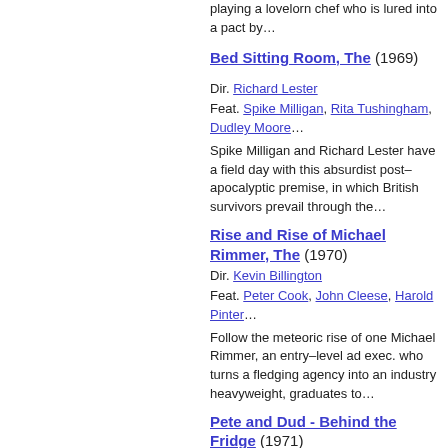playing a lovelorn chef who is lured into a pact by…
Bed Sitting Room, The (1969)
Dir. Richard Lester
Feat. Spike Milligan, Rita Tushingham, Dudley Moore…
Spike Milligan and Richard Lester have a field day with this absurdist post–apocalyptic premise, in which British survivors prevail through the…
Rise and Rise of Michael Rimmer, The (1970)
Dir. Kevin Billington
Feat. Peter Cook, John Cleese, Harold Pinter…
Follow the meteoric rise of one Michael Rimmer, an entry–level ad exec. who turns a fledging agency into an industry heavyweight, graduates to…
Pete and Dud - Behind the Fridge (1971)
Feat. Peter Cook, Dudley Moore
Cook and Moore's long lost '71 Australian tour programs, stacked with riotous sketches, roleplays, and musical numbers, are presented for the…